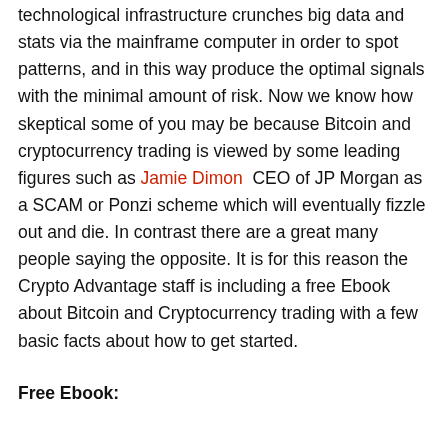technological infrastructure crunches big data and stats via the mainframe computer in order to spot patterns, and in this way produce the optimal signals with the minimal amount of risk. Now we know how skeptical some of you may be because Bitcoin and cryptocurrency trading is viewed by some leading figures such as Jamie Dimon  CEO of JP Morgan as a SCAM or Ponzi scheme which will eventually fizzle out and die. In contrast there are a great many people saying the opposite. It is for this reason the Crypto Advantage staff is including a free Ebook about Bitcoin and Cryptocurrency trading with a few basic facts about how to get started.
Free Ebook: